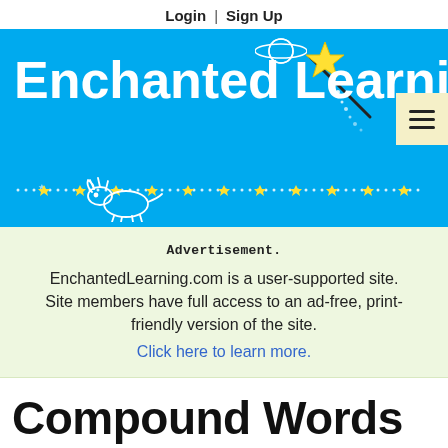Login | Sign Up
[Figure (illustration): Enchanted Learning website header banner with blue background, cursive white logo text, dotted star trail, small dinosaur illustration, planet illustration, magic wand with star, and hamburger menu button]
Advertisement.
EnchantedLearning.com is a user-supported site.
Site members have full access to an ad-free, print-friendly version of the site.
Click here to learn more.
Compound Words (Categorized) Word List